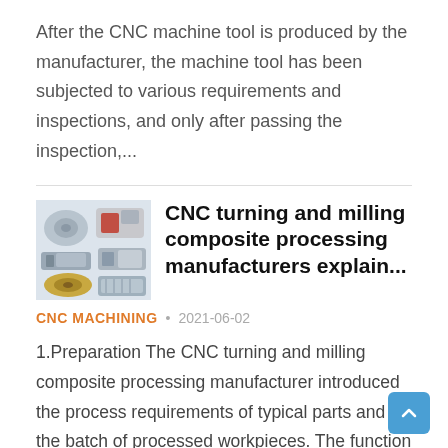After the CNC machine tool is produced by the manufacturer, the machine tool has been subjected to various requirements and inspections, and only after passing the inspection,...
[Figure (photo): Thumbnail collage of various CNC machined metal parts including turned, milled, and composite parts]
CNC turning and milling composite processing manufacturers explain...
CNC MACHINING · 2021-06-02
1.Preparation The CNC turning and milling composite processing manufacturer introduced the process requirements of typical parts and the batch of processed workpieces. The function that the CNC...